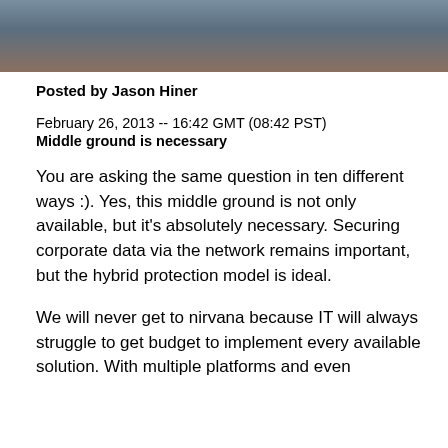[Figure (photo): Partial photo of a person, cropped at top of page]
Posted by Jason Hiner
February 26, 2013 -- 16:42 GMT (08:42 PST)
Middle ground is necessary
You are asking the same question in ten different ways :). Yes, this middle ground is not only available, but it's absolutely necessary. Securing corporate data via the network remains important, but the hybrid protection model is ideal.
We will never get to nirvana because IT will always struggle to get budget to implement every available solution. With multiple platforms and even